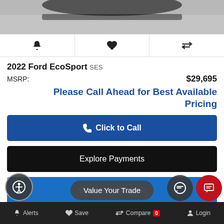[Figure (photo): Partial view of a car (likely Ford EcoSport) from above on gray pavement, showing top/rear portion]
[Figure (infographic): Three icon buttons: bell/alert icon, heart/save icon, compare arrows icon in a horizontal row]
2022 Ford EcoSport SES
MSRP: $29,695
Please Call Ahead for Best Available Pricing
Click to Call
Explore Payments
Schedule a Test Drive
Value Your Trade
Pre-Qualify
Alerts  Save  Compare 0  Login